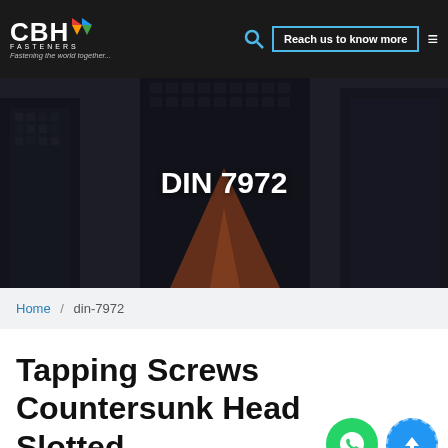CBH FASTENERS — Fastening the world together... | Reach us to know more
[Figure (photo): Hero image of tall modern skyscrapers shot from below against a dark sky, with overlaid text DIN 7972]
DIN 7972
Home / din-7972
Tapping Screws Countersunk Head Slotted